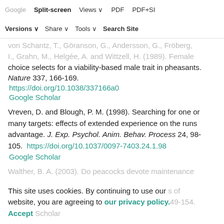Split-screen | Views | PDF | PDF+SI
Versions | Share | Tools | Search Site
von Schantz, T., Göranson, G., Andersson, G., Fröberg, I., Grahn, M., Helgée, A. and Wittzell, H. (1989). Female choice selects for a viability-based male trait in pheasants. Nature 337, 166-169. https://doi.org/10.1038/337166a0 Google Scholar
Vreven, D. and Blough, P. M. (1998). Searching for one or many targets: effects of extended experience on the runs advantage. J. Exp. Psychol. Anim. Behav. Process 24, 98-105. https://doi.org/10.1037/0097-7403.24.1.98 Google Scholar
Walther, B. A. (2003). Do peacocks devote maintenance ... of ... 49-154. Google Scholar
This site uses cookies. By continuing to use our website, you are agreeing to our privacy policy. Accept